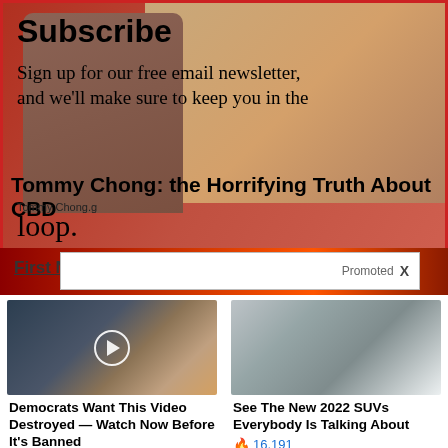[Figure (screenshot): Subscribe newsletter overlay with couple photo background. Shows man with white beard and woman with blonde hair. Red border box.]
Subscribe
Sign up for our free email newsletter, and we'll make sure to keep you in the loop.
Tommy Chong: the Horrifying Truth About CBD
Tommy Chong.g
First Name
Promoted X
[Figure (photo): Video thumbnail showing Melania and Donald Trump, with a play button circle overlay]
Democrats Want This Video Destroyed — Watch Now Before It's Banned
🔥 180,306
[Figure (photo): Photo of 2022 SUV interior/exterior concept car with modern white seats]
See The New 2022 SUVs Everybody Is Talking About
🔥 16,191